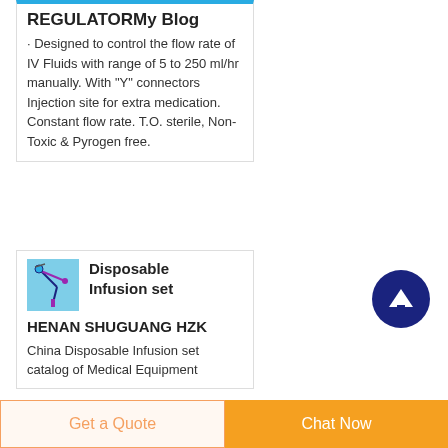REGULATORMy Blog
· Designed to control the flow rate of IV Fluids with range of 5 to 250 ml/hr manually. With "Y" connectors Injection site for extra medication. Constant flow rate. T.O. sterile, Non-Toxic & Pyrogen free.
Disposable Infusion setHENAN SHUGUANG HZK
China Disposable Infusion set catalog of Medical Equipment
[Figure (illustration): Small image of IV infusion set tubing with blue and purple components]
Get a Quote
Chat Now